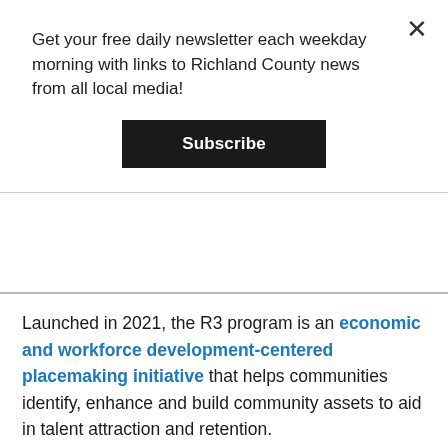Get your free daily newsletter each weekday morning with links to Richland County news from all local media!
Subscribe
Launched in 2021, the R3 program is an economic and workforce development-centered placemaking initiative that helps communities identify, enhance and build community assets to aid in talent attraction and retention.
“We are so pleased to engage the City of Bowling Green, the City of Mansfield and the Village of Paulding – these communities create so much good in our region and in Ohio,” said BGSU President Rodney K. Rogers. “As a public university for the public good, BGSU is committed to supporting the current and future growth and vitality of our rural